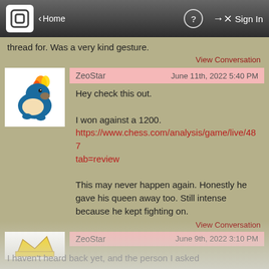Home | Sign In
thread for. Was a very kind gesture.
View Conversation
ZeoStar  June 11th, 2022 5:40 PM
Hey check this out.

I won against a 1200.
https://www.chess.com/analysis/game/live/487...tab=review

This may never happen again. Honestly he gave his queen away too. Still intense because he kept fighting on.
View Conversation
ZeoStar  June 9th, 2022 3:10 PM
I haven't heard back yet, and the person I asked